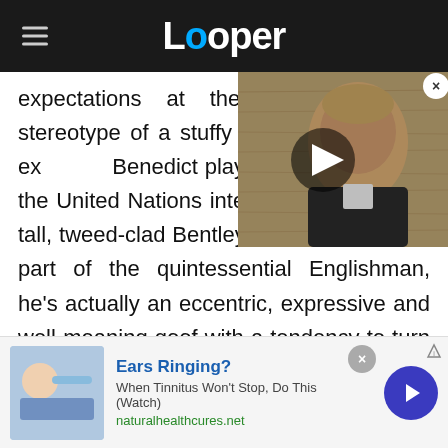Looper
expectations at the time, and the stereotype of a stuffy English guy wasn't ex... Benedict played one of the ... the United Nations interpre... Though the tall, tweed-clad Bentley certainly looks the part of the quintessential Englishman, he's actually an eccentric, expressive and well-meaning goof with a tendency to turn up at the Jeffersons' door at most inopportune moments — in other words, he's arguably closer to chaotic sitcom
[Figure (photo): Video thumbnail showing a man (Bob Odenkirk) with a play button overlay, appearing to be from a TV show or movie]
[Figure (photo): Advertisement image showing a person lying down with water bottle]